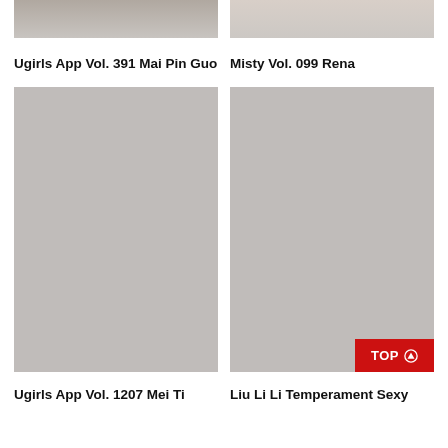[Figure (photo): Top-left image placeholder showing partial photo, cropped at top]
Ugirls App Vol. 391 Mai Pin Guo
[Figure (photo): Top-right image placeholder showing partial photo, cropped at top]
Misty Vol. 099 Rena
[Figure (photo): Bottom-left large gray placeholder image]
Ugirls App Vol. 1207 Mei Ti
[Figure (photo): Bottom-right large gray placeholder image with red TOP button]
Liu Li Li Temperament Sexy